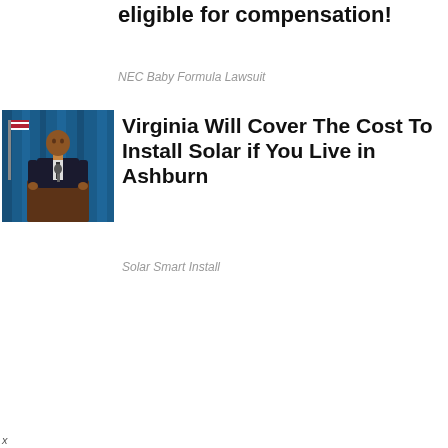eligible for compensation!
NEC Baby Formula Lawsuit
[Figure (photo): A man in a suit speaking at a podium with an American flag in the background, blue curtain behind.]
Virginia Will Cover The Cost To Install Solar if You Live in Ashburn
Solar Smart Install
x